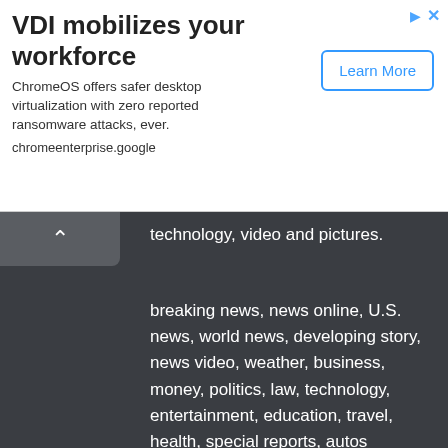VDI mobilizes your workforce
ChromeOS offers safer desktop virtualization with zero reported ransomware attacks, ever. chromeenterprise.google
technology, video and pictures.
breaking news, news online, U.S. news, world news, developing story, news video, weather, business, money, politics, law, technology, entertainment, education, travel, health, special reports, autos
Get In Touch With Us